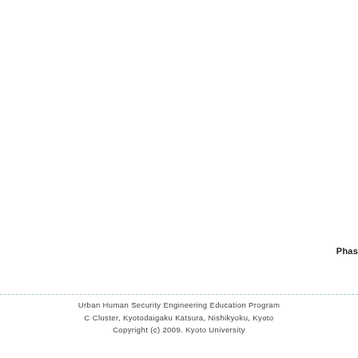Phas
Urban Human Security Engineering Education Program
C Cluster, Kyotodaigaku Katsura, Nishikyoku, Kyoto
Copyright (c) 2009. Kyoto University